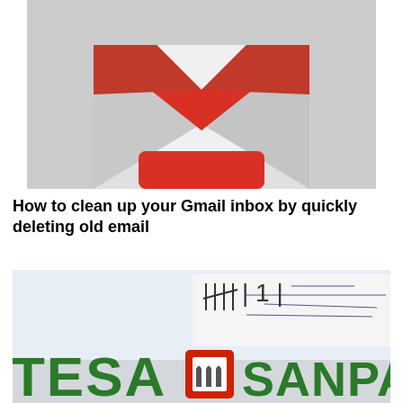[Figure (logo): Gmail logo — red and white envelope icon with M-shaped red flap on a light grey background]
How to clean up your Gmail inbox by quickly deleting old email
[Figure (photo): Photo of Intesa Sanpaolo bank branch sign — green letters spelling TESA and SANPAOLO with the red-bordered Intesa Sanpaolo arch logo, and handwritten notes visible in background]